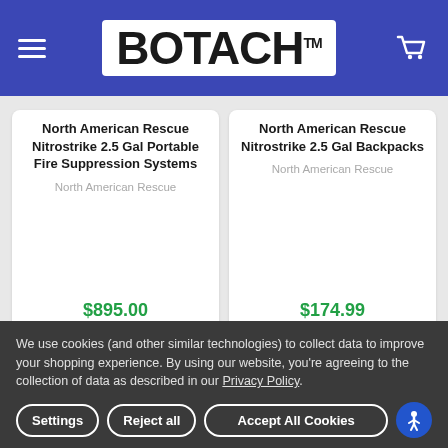BOTACH
North American Rescue Nitrostrike 2.5 Gal Portable Fire Suppression Systems
North American Rescue
$895.00
North American Rescue Nitrostrike 2.5 Gal Backpacks
North American Rescue
$174.99
Customers Also Viewed
[Figure (photo): Product image showing gold/brass rings or links]
[Figure (photo): Product image showing a black tactical item with red and blue logo patch]
We use cookies (and other similar technologies) to collect data to improve your shopping experience. By using our website, you're agreeing to the collection of data as described in our Privacy Policy.
Settings
Reject all
Accept All Cookies